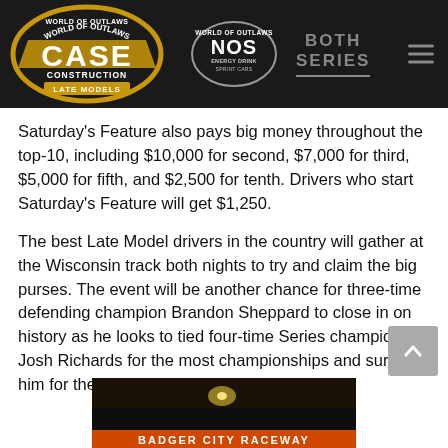[Figure (logo): World of Outlaws CASE Construction Late Models logo and NOS Energy Drink Sprint Cars logo with navigation header bar on dark background]
Saturday's Feature also pays big money throughout the top-10, including $10,000 for second, $7,000 for third, $5,000 for fifth, and $2,500 for tenth. Drivers who start Saturday's Feature will get $1,250.
The best Late Model drivers in the country will gather at the Wisconsin track both nights to try and claim the big purses. The event will be another chance for three-time defending champion Brandon Sheppard to close in on history as he looks to tied four-time Series champion Josh Richards for the most championships and surpass him for the most Series wins (77).
[Figure (photo): Partial view of a racetrack grandstand scene at night, partially visible at the bottom of the page]